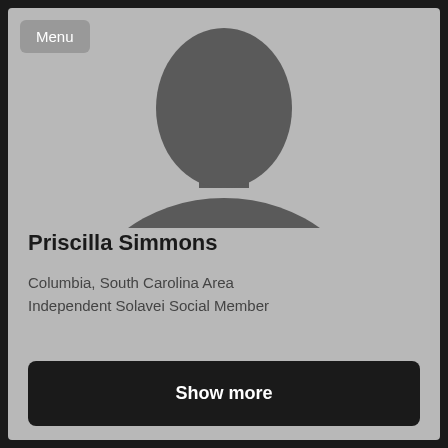Menu
[Figure (illustration): Generic grey silhouette of a person (head and shoulders), placeholder avatar image on a grey background]
Priscilla Simmons
Columbia, South Carolina Area
Independent Solavei Social Member
Show more